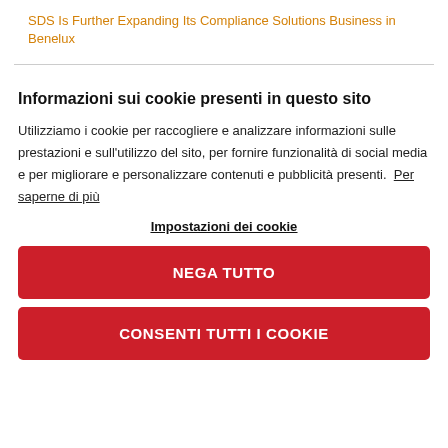SDS Is Further Expanding Its Compliance Solutions Business in Benelux
Informazioni sui cookie presenti in questo sito
Utilizziamo i cookie per raccogliere e analizzare informazioni sulle prestazioni e sull'utilizzo del sito, per fornire funzionalità di social media e per migliorare e personalizzare contenuti e pubblicità presenti. Per saperne di più
Impostazioni dei cookie
NEGA TUTTO
CONSENTI TUTTI I COOKIE